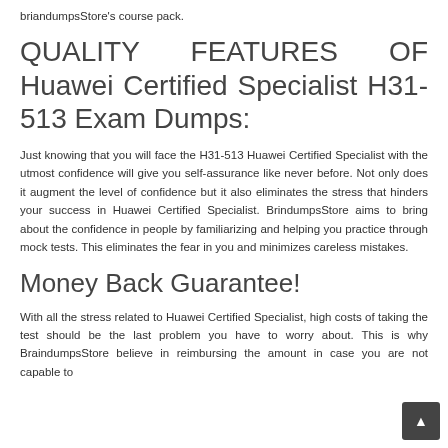briandumpsStore's course pack.
QUALITY FEATURES OF Huawei Certified Specialist H31-513 Exam Dumps:
Just knowing that you will face the H31-513 Huawei Certified Specialist with the utmost confidence will give you self-assurance like never before. Not only does it augment the level of confidence but it also eliminates the stress that hinders your success in Huawei Certified Specialist. BrindumpsStore aims to bring about the confidence in people by familiarizing and helping you practice through mock tests. This eliminates the fear in you and minimizes careless mistakes.
Money Back Guarantee!
With all the stress related to Huawei Certified Specialist, high costs of taking the test should be the last problem you have to worry about. This is why BraindumpsStore believe in reimbursing the amount in case you are not capable to